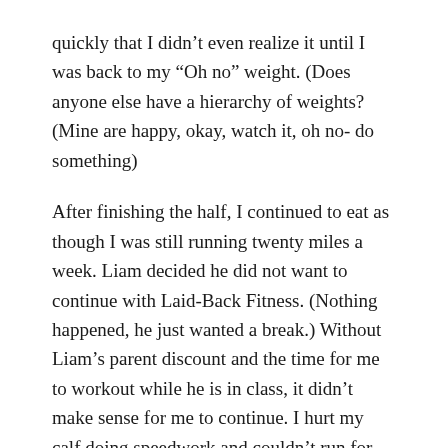quickly that I didn't even realize it until I was back to my “Oh no” weight. (Does anyone else have a hierarchy of weights? (Mine are happy, okay, watch it, oh no- do something)
After finishing the half, I continued to eat as though I was still running twenty miles a week. Liam decided he did not want to continue with Laid-Back Fitness. (Nothing happened, he just wanted a break.) Without Liam’s parent discount and the time for me to workout while he is in class, it didn’t make sense for me to continue. I hurt my calf doing speedwork and couldn’t run for over two weeks. It got ridiculously hot. Then we went on vacation for a week, following the mantra “do what you want” for eight days.